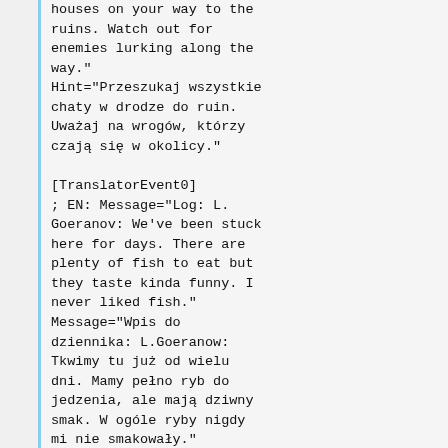houses on your way to the ruins. Watch out for enemies lurking along the way."
Hint="Przeszukaj wszystkie chaty w drodze do ruin. Uważaj na wrogów, którzy czają się w okolicy."

[TranslatorEvent0]
; EN: Message="Log: L. Goeranov: We've been stuck here for days. There are plenty of fish to eat but they taste kinda funny. I never liked fish."
Message="Wpis do dziennika: L.Goeranow: Tkwimy tu już od wielu dni. Mamy pełno ryb do jedzenia, ale mają dziwny smak. W ogóle ryby nigdy mi nie smakowały."
; EN: Hint="You might get a helping hand from a